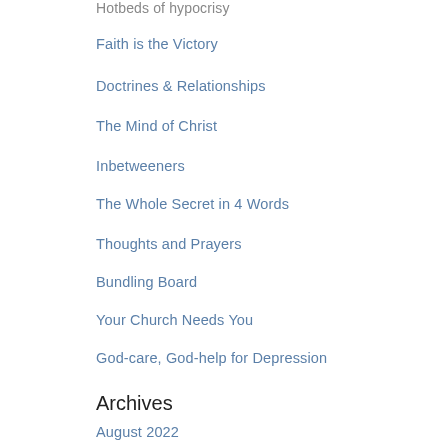Hotbeds of hypocrisy
Faith is the Victory
Doctrines & Relationships
The Mind of Christ
Inbetweeners
The Whole Secret in 4 Words
Thoughts and Prayers
Bundling Board
Your Church Needs You
God-care, God-help for Depression
Archives
August 2022
July 2022
June 2022
May 2022